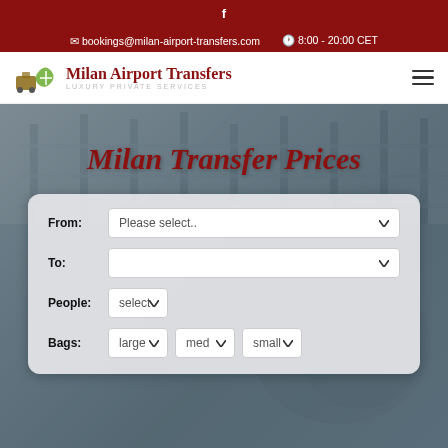bookings@milan-airport-transfers.com   8:00 - 20:00 CET
[Figure (logo): Milan Airport Transfers logo with luggage icon, red text 'Milan Airport Transfers' and grey subtitle 'LUXURY PRIVATE SERVICES']
Milan Transfer Prices
From: Please select..
To:
People: select
Bags: large  med  small